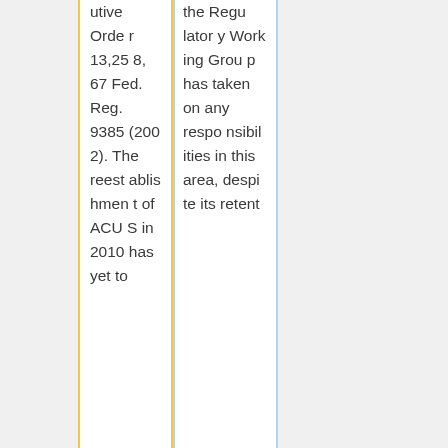| utive Order 13,258, 67 Fed. Reg. 9385 (2002). The reestablishment of ACUS in 2010 has yet to | the Regulatory Working Group has taken on any responsibilities in this area, despite its retent |